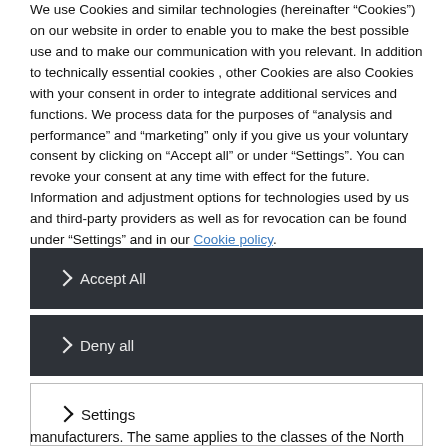We use Cookies and similar technologies (hereinafter "Cookies") on our website in order to enable you to make the best possible use and to make our communication with you relevant. In addition to technically essential cookies , other Cookies are also Cookies with your consent in order to integrate additional services and functions. We process data for the purposes of "analysis and performance" and "marketing" only if you give us your voluntary consent by clicking on "Accept all" or under "Settings". You can revoke your consent at any time with effect for the future. Information and adjustment options for technologies used by us and third-party providers as well as for revocation can be found under "Settings" and in our Cookie policy.
> Accept All
> Deny all
> Settings
manufacturers. The same applies to the classes of the North